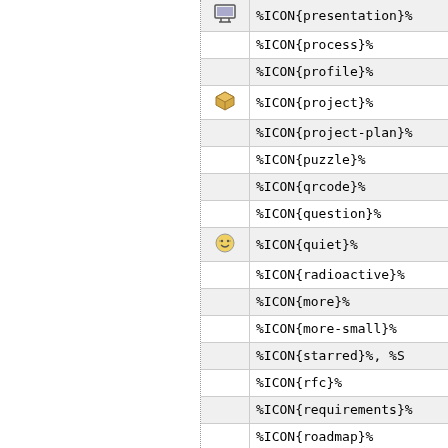| Icon | Syntax |
| --- | --- |
| [monitor icon] | %ICON{presentation}% |
|  | %ICON{process}% |
|  | %ICON{profile}% |
| [box icon] | %ICON{project}% |
|  | %ICON{project-plan}% |
|  | %ICON{puzzle}% |
|  | %ICON{qrcode}% |
|  | %ICON{question}% |
| [quiet icon] | %ICON{quiet}% |
|  | %ICON{radioactive}% |
|  | %ICON{more}% |
|  | %ICON{more-small}% |
|  | %ICON{starred}%, %S... |
|  | %ICON{rfc}% |
|  | %ICON{requirements}% |
|  | %ICON{roadmap}% |
|  | %ICON{shipping}% |
| [sitemap icon] | %ICON{sitemap}% |